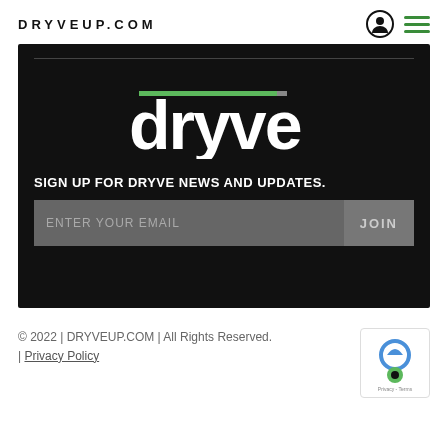DRYVEUP.COM
[Figure (logo): Dryve logo with green underline bar on dark black background, with email signup form and JOIN button]
© 2022 | DRYVEUP.COM | All Rights Reserved. | Privacy Policy